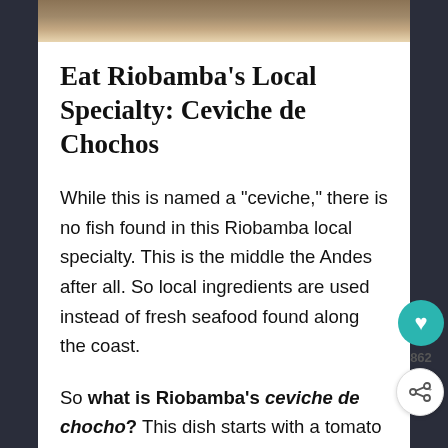[Figure (photo): Top portion of a food/travel photo showing textured surface, partially visible at top of page]
Eat Riobamba's Local Specialty: Ceviche de Chochos
While this is named a “ceviche,” there is no fish found in this Riobamba local specialty. This is the middle the Andes after all. So local ingredients are used instead of fresh seafood found along the coast.
So what is Riobamba’s ceviche de chocho? This dish starts with a tomato sauce base that also included cucumber and onion, not too dissimilar from Spanish gazpacho. Then comes the